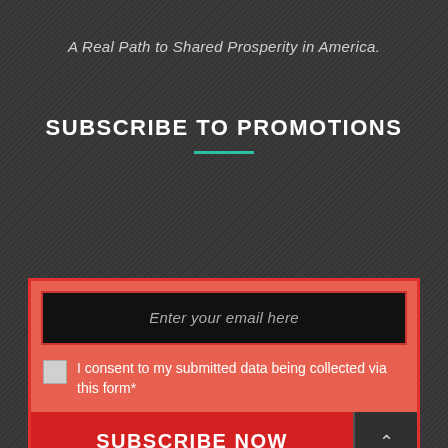A Real Path to Shared Prosperity in America.
SUBSCRIBE TO PROMOTIONS
Enter your email here
I consent to my submitted data being collected via this form*
SUBSCRIBE NOW